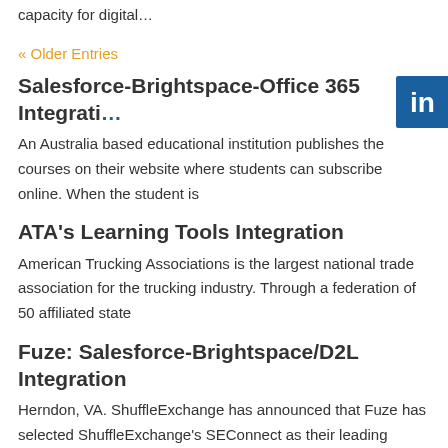capacity for digital…
« Older Entries
Salesforce-Brightspace-Office 365 Integration
[Figure (logo): LinkedIn logo button, blue square with white 'in' text]
An Australia based educational institution publishes the courses on their website where students can subscribe online. When the student is
ATA's Learning Tools Integration
American Trucking Associations is the largest national trade association for the trucking industry. Through a federation of 50 affiliated state
Fuze: Salesforce-Brightspace/D2L Integration
Herndon, VA. ShuffleExchange has announced that Fuze has selected ShuffleExchange's SEConnect as their leading